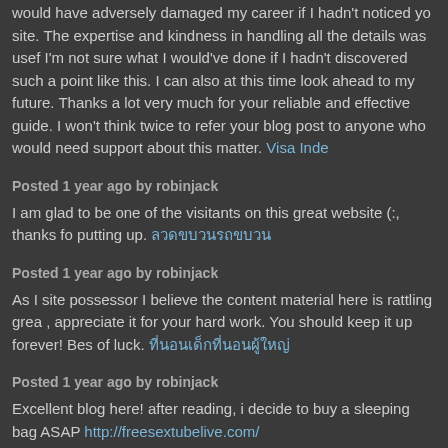would have adversely damaged my career if I hadn’t noticed your site. The expertise and kindness in handling all the details was useful. I’m not sure what I would’ve done if I hadn’t discovered such a point like this. I can also at this time look ahead to my future. Thanks a lot very much for your reliable and effective guide. I won’t think twice to refer your blog post to anyone who would need support about this matter. Visa Inde
Posted 1 year ago by robinjack
I am glad to be one of the visitants on this great website (:, thanks for putting up. ลวดขบวนรถขบวน
Posted 1 year ago by robinjack
As I site possessor I believe the content material here is rattling great, appreciate it for your hard work. You should keep it up forever! Best of luck. ที่นอนเด็กที่นอนผู้ใหญ่
Posted 1 year ago by robinjack
Excellent blog here! after reading, i decide to buy a sleeping bag ASAP http://freesextubelive.com/
Posted 1 year ago by robinjack